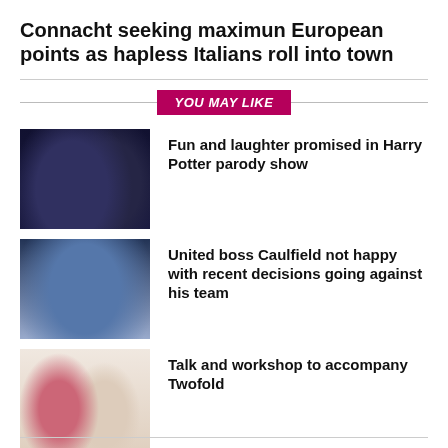Connacht seeking maximun European points as hapless Italians roll into town
YOU MAY LIKE
[Figure (photo): Two young fans in dark clothing, one wearing a wizard hat, celebrating at a sports event]
Fun and laughter promised in Harry Potter parody show
[Figure (photo): Older man in dark jacket appearing to shout or react emotionally, likely at a sporting event]
United boss Caulfield not happy with recent decisions going against his team
[Figure (photo): Two women posing together, one with red hair and one with blonde hair, smiling]
Talk and workshop to accompany Twofold